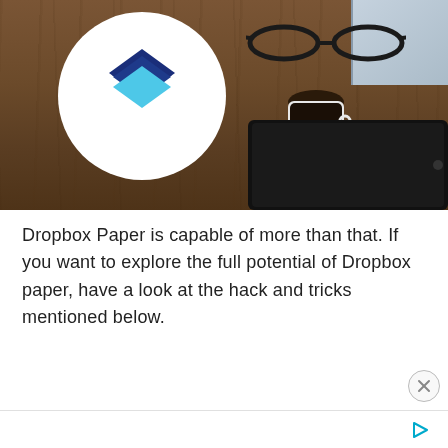[Figure (photo): Overhead photo of a wooden desk with the Dropbox Paper logo (two overlapping diamond shapes — dark blue on top, light blue on bottom — in a white circle), eyeglasses, a laptop, a coffee cup, and a tablet/phone visible.]
Dropbox Paper is capable of more than that. If you want to explore the full potential of Dropbox paper, have a look at the hack and tricks mentioned below.